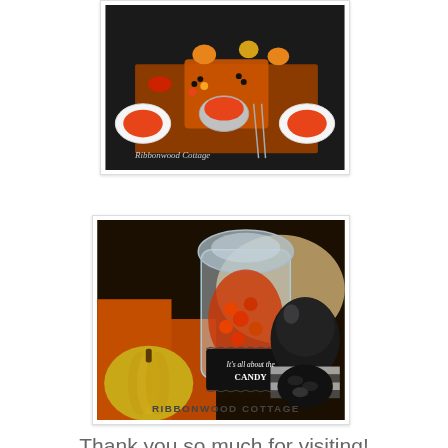[Figure (photo): Overhead aerial view of a Halloween-themed table setting with orange and black plates, silverware, pumpkins, candies, and festive decorations. Watermark reads 'Ribbonwood Cottage'.]
[Figure (photo): Close-up photo of Halloween candy display in glass jars with orange and black candies, a gold pumpkin, decorative black glitter gourd, burlap backdrop. A black label on the jar reads 'It's all about the CANDY'. Bottom text reads 'RIBBONWOOD COTTAGE'.]
Thank you so much for visiting!
Blessings